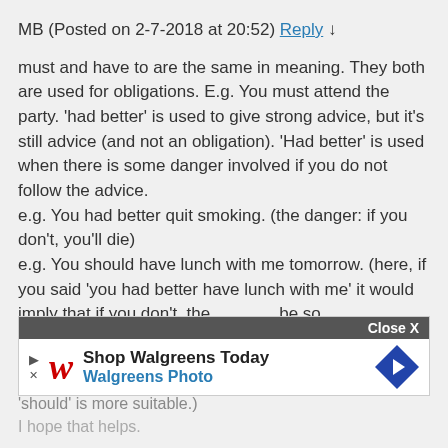MB (Posted on 2-7-2018 at 20:52) Reply ↓
must and have to are the same in meaning. They both are used for obligations. E.g. You must attend the party. 'had better' is used to give strong advice, but it's still advice (and not an obligation). 'Had better' is used when there is some danger involved if you do not follow the advice.
e.g. You had better quit smoking. (the danger: if you don't, you'll die)
e.g. You should have lunch with me tomorrow. (here, if you said 'you had better have lunch with me' it would imply that if you don't, there would be some danger. But in this case there isn't danger, so 'should' is more suitable.)
I hope that helps.